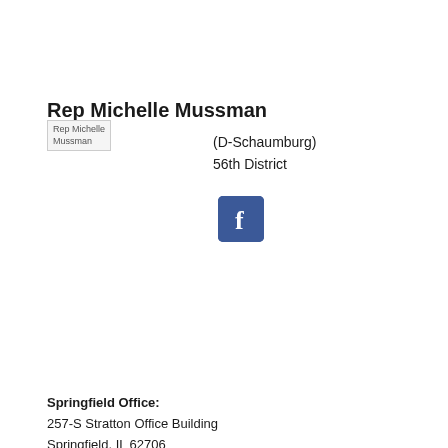Rep Michelle Mussman
[Figure (photo): Photo placeholder for Rep Michelle Mussman]
(D-Schaumburg)
56th District
[Figure (logo): Facebook icon button (blue square with white f)]
Springfield Office:
257-S Stratton Office Building
Springfield, IL 62706